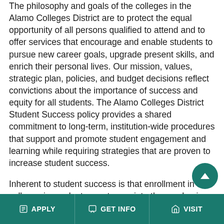The philosophy and goals of the colleges in the Alamo Colleges District are to protect the equal opportunity of all persons qualified to attend and to offer services that encourage and enable students to pursue new career goals, upgrade present skills, and enrich their personal lives. Our mission, values, strategic plan, policies, and budget decisions reflect convictions about the importance of success and equity for all students. The Alamo Colleges District Student Success policy provides a shared commitment to long-term, institution-wide procedures that support and promote student engagement and learning while requiring strategies that are proven to increase student success.
Inherent to student success is that enrollment in the colleges is a voluntary entrance into the academic community wherein the student assumes obligations of performance and behavior that are reasonabl...
APPLY | GET INFO | VISIT